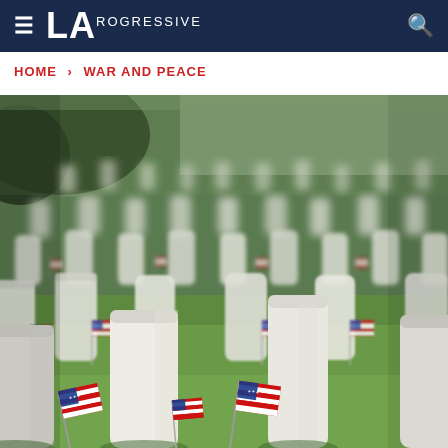≡ LA PROGRESSIVE 🔍
HOME > WAR AND PEACE
[Figure (photo): Military cemetery with rows of white headstones on green grass, each decorated with small American flags, photographed from a low angle with depth of field blur in the background.]